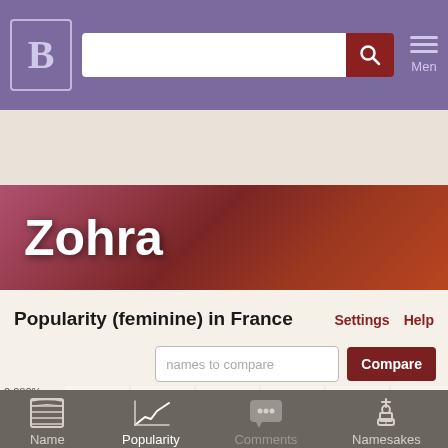Behindthename.com — header with logo, search bar, and menu
Zohra
Popularity (feminine) in France
[Figure (line-chart): Line chart showing popularity of the name Zohra (feminine) in France over time, with y-axis labels 0.080%, 0.064%, 0.048%. A red line showing a peak around 0.064-0.072%.]
Name | Popularity | Comments | Namesakes